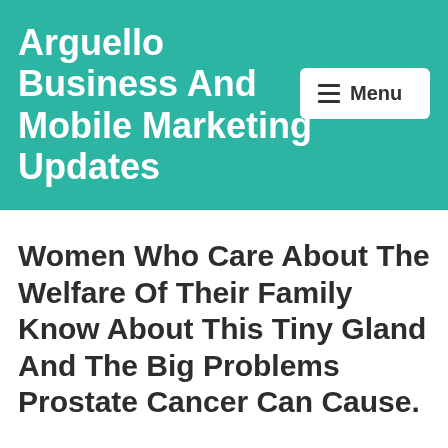Arguello Business And Mobile Marketing Updates
Women Who Care About The Welfare Of Their Family Know About This Tiny Gland And The Big Problems Prostate Cancer Can Cause.